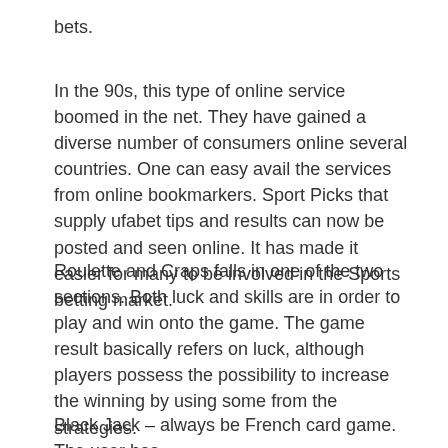bets.
In the 90s, this type of online service boomed in the net. They have gained a diverse number of consumers online several countries. One can easy avail the services from online bookmarkers. Sport Picks that supply ufabet tips and results can now be posted and seen online. It has made it easier for many to be involved in the Sports betting market.
Roulette and Craps falls in one of the two sections. Both luck and skills are in order to play and win onto the game. The game result basically refers on luck, although players possess the possibility to increase the winning by using some from the strategies.
Black Jack – always be French card game. The user has